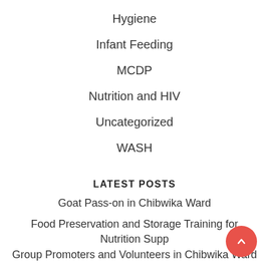Hygiene
Infant Feeding
MCDP
Nutrition and HIV
Uncategorized
WASH
LATEST POSTS
Goat Pass-on in Chibwika Ward
Food Preservation and Storage Training for Nutrition Support Group Promoters and Volunteers in Chibwika Ward